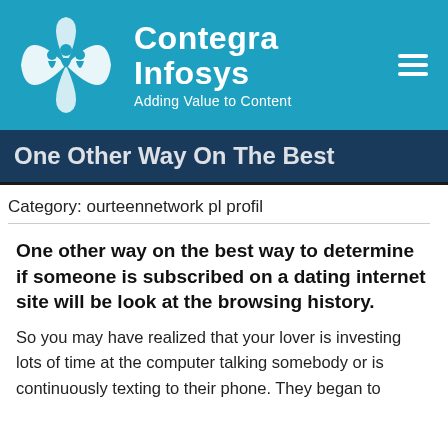[Figure (logo): Contegra Infosys company logo with white butterfly/star figure icon and company name 'Contegra Infosys' with tagline 'Adding Value to Content' on teal/blue background, with hamburger menu icon]
One Other Way On The Best
Category: ourteennetwork pl profil
One other way on the best way to determine if someone is subscribed on a dating internet site will be look at the browsing history.
So you may have realized that your lover is investing lots of time at the computer talking somebody or is continuously texting to their phone. They began to